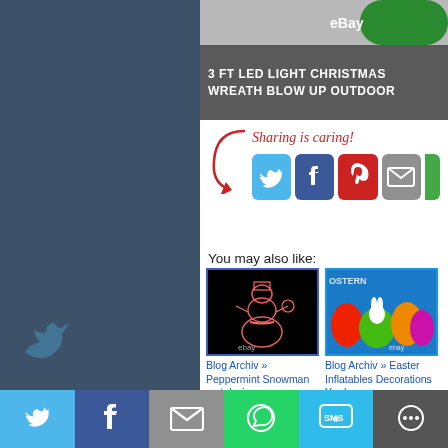[Figure (screenshot): Left panel with dark slate blue background, partial sidebar of a blog/website]
[Figure (screenshot): Product image strip at top right with grey background]
3 FT LED LIGHT CHRISTMAS WREATH BLOW UP OUTDOOR
[Figure (infographic): Sharing is caring! social share section with Twitter, Facebook, Pinterest, Email icons and a red arrow graphic]
You may also like:
[Figure (photo): Thumbnail image of a peppermint snowman metal wire light decoration on black background with eBay watermark]
Blog Archiv » Peppermint Snowman metal wire
[Figure (photo): Thumbnail image of colorful Easter inflatables decorations with eBay watermark, OSTERN text]
Blog Archiv » Easter Inflatables Decorations Yard
[Figure (screenshot): Bottom social share bar with Twitter, Facebook, Email, WhatsApp, SMS, and More buttons]